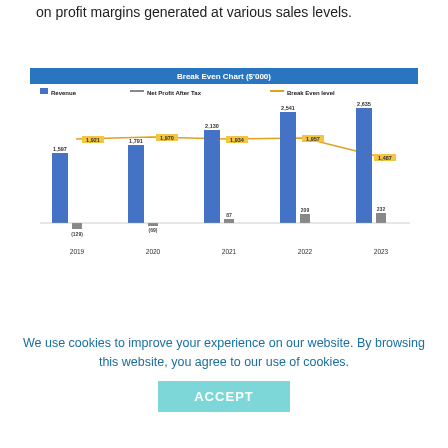on profit margins generated at various sales levels.
[Figure (grouped-bar-chart): Break Even Chart ($'000)]
We use cookies to improve your experience on our website. By browsing this website, you agree to our use of cookies.
ACCEPT